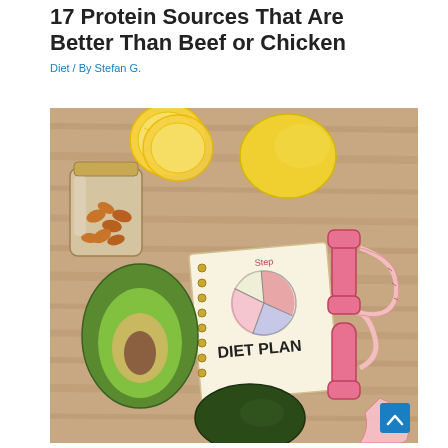17 Protein Sources That Are Better Than Beef or Chicken
Diet / By Stefan G.
[Figure (photo): Flat lay photo on wooden surface showing a jar of almonds, lemon slices, a whole lemon, a half avocado with pit, a whole avocado, a spiral-bound notebook with 'Diet Plan' written on it and a pie chart drawing, and a pink dumbbell wrapped with a pink measuring tape.]